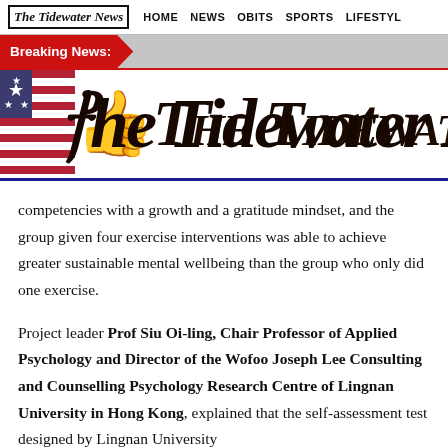The Tidewater News  HOME  NEWS  OBITS  SPORTS  LIFESTYLE
Breaking News:
[Figure (logo): The Tidewater News masthead with American flag and blackletter title text]
competencies with a growth and a gratitude mindset, and the group given four exercise interventions was able to achieve greater sustainable mental wellbeing than the group who only did one exercise.
Project leader Prof Siu Oi-ling, Chair Professor of Applied Psychology and Director of the Wofoo Joseph Lee Consulting and Counselling Psychology Research Centre of Lingnan University in Hong Kong, explained that the self-assessment test designed by Lingnan University